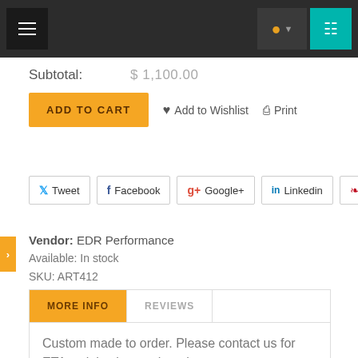Navigation bar with hamburger menu, user icon, and cart icon
Subtotal: $ 1,100.00
ADD TO CART | Add to Wishlist | Print
[Figure (screenshot): Social share buttons: Tweet, Facebook, Google+, Linkedin, Pinterest]
Vendor: EDR Performance
Available: In stock
SKU: ART412
| MORE INFO | REVIEWS |  |
| --- | --- | --- |
Custom made to order. Please contact us for ETA as it is always changing.